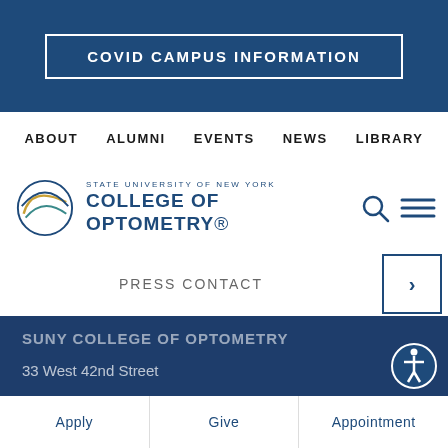COVID CAMPUS INFORMATION
ABOUT  ALUMNI  EVENTS  NEWS  LIBRARY
[Figure (logo): SUNY College of Optometry logo with circular eye graphic and text]
PRESS CONTACT
SUNY COLLEGE OF OPTOMETRY
33 West 42nd Street
New York, NY 10036
212-938-4000
SOCIAL MEDIA
[Figure (infographic): Social media icons: Facebook, Twitter, Instagram, YouTube]
Apply  Give  Appointment